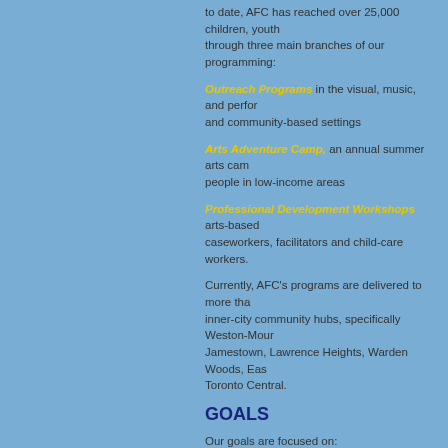to date, AFC has reached over 25,000 children, youth through three main branches of our programming:
Outreach Programs in the visual, music, and performing arts in school and community-based settings
Arts Adventure Camp, an annual summer arts camp for young people in low-income areas
Professional Development Workshops arts-based training for caseworkers, facilitators and child-care workers.
Currently, AFC’s programs are delivered to more than 10 inner-city community hubs, specifically Weston-Mount Dennis, Jamestown, Lawrence Heights, Warden Woods, East Scarborough, Toronto Central.
GOALS
Our goals are focused on:
Engaging marginalized youth in unique arts programs that develop artistic and personal skills;
Providing meaningful mentorship opportunities that connect youth to finding gainful employment; and,
Providing children and youth with a venue to develop